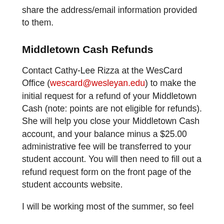share the address/email information provided to them.
Middletown Cash Refunds
Contact Cathy-Lee Rizza at the WesCard Office (wescard@wesleyan.edu) to make the initial request for a refund of your Middletown Cash (note: points are not eligible for refunds). She will help you close your Middletown Cash account, and your balance minus a $25.00 administrative fee will be transferred to your student account. You will then need to fill out a refund request form on the front page of the student accounts website.
I will be working most of the summer, so feel